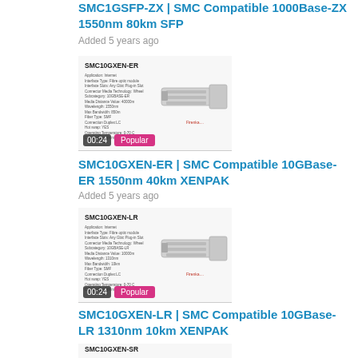SMC1GSFP-ZX | SMC Compatible 1000Base-ZX 1550nm 80km SFP
Added 5 years ago
[Figure (photo): Product image of SMC10GXEN-ER XENPAK transceiver module with spec label, showing video duration badge 00:24 and Popular badge]
SMC10GXEN-ER | SMC Compatible 10GBase-ER 1550nm 40km XENPAK
Added 5 years ago
[Figure (photo): Product image of SMC10GXEN-LR XENPAK transceiver module with spec label, showing video duration badge 00:24 and Popular badge]
SMC10GXEN-LR | SMC Compatible 10GBase-LR 1310nm 10km XENPAK
Added 5 years ago
[Figure (photo): Partial product image of SMC10GXEN-SR XENPAK transceiver module with spec label, cropped at bottom of page]